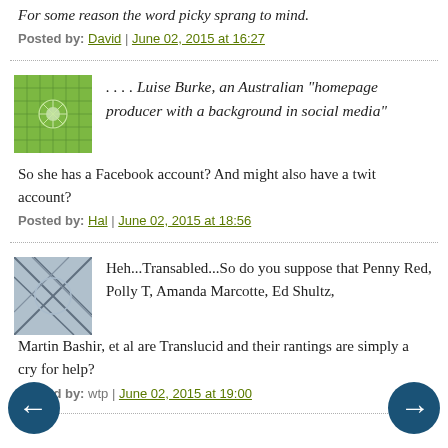For some reason the word picky sprang to mind.
Posted by: David | June 02, 2015 at 16:27
. . . . Luise Burke, an Australian "homepage producer with a background in social media"
So she has a Facebook account? And might also have a twit account?
Posted by: Hal | June 02, 2015 at 18:56
Heh...Transabled...So do you suppose that Penny Red, Polly T, Amanda Marcotte, Ed Shultz, Martin Bashir, et al are Translucid and their rantings are simply a cry for help?
Posted by: wtp | June 02, 2015 at 19:00